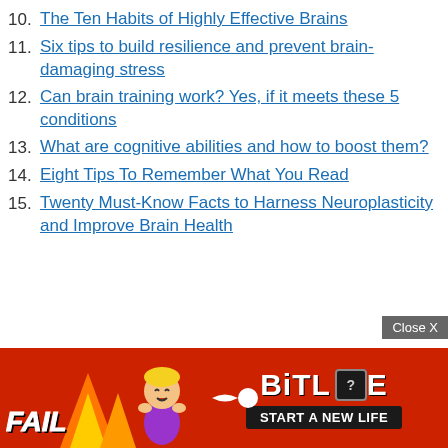10. The Ten Habits of Highly Effective Brains
11. Six tips to build resilience and prevent brain-damaging stress
12. Can brain training work? Yes, if it meets these 5 conditions
13. What are cognitive abilities and how to boost them?
14. Eight Tips To Remember What You Read
15. Twenty Must-Know Facts to Harness Neuroplasticity and Improve Brain Health
[Figure (illustration): Advertisement banner for BitLife game with red background, flame graphics, cartoon character, fail text, and 'Start A New Life' button. Includes a Close X button in grey.]